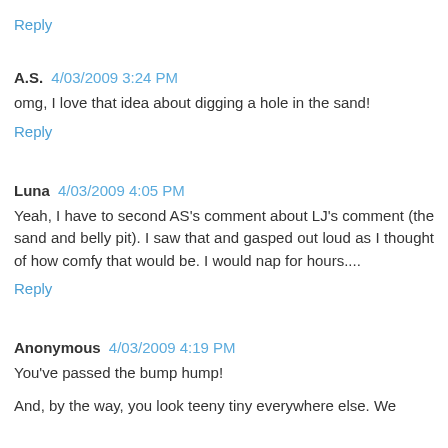Reply
A.S.  4/03/2009 3:24 PM
omg, I love that idea about digging a hole in the sand!
Reply
Luna  4/03/2009 4:05 PM
Yeah, I have to second AS's comment about LJ's comment (the sand and belly pit). I saw that and gasped out loud as I thought of how comfy that would be. I would nap for hours....
Reply
Anonymous  4/03/2009 4:19 PM
You've passed the bump hump!
And, by the way, you look teeny tiny everywhere else. We